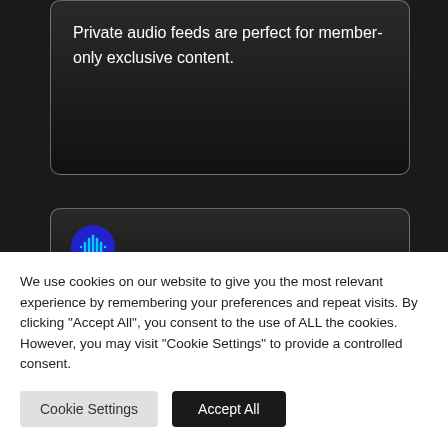Private audio feeds are perfect for member-only exclusive content.
[Figure (logo): Blue circle icon with audio waveform symbol inside]
Lead Magnets
We use cookies on our website to give you the most relevant experience by remembering your preferences and repeat visits. By clicking "Accept All", you consent to the use of ALL the cookies. However, you may visit "Cookie Settings" to provide a controlled consent.
Cookie Settings | Accept All